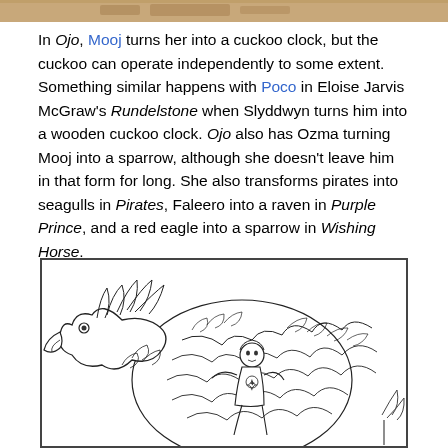[Figure (illustration): Partial top image showing what appears to be a decorative or illustrated banner at the top of the page.]
In Ojo, Mooj turns her into a cuckoo clock, but the cuckoo can operate independently to some extent. Something similar happens with Poco in Eloise Jarvis McGraw's Rundelstone when Slyddwyn turns him into a wooden cuckoo clock. Ojo also has Ozma turning Mooj into a sparrow, although she doesn't leave him in that form for long. She also transforms pirates into seagulls in Pirates, Faleero into a raven in Purple Prince, and a red eagle into a sparrow in Wishing Horse.
[Figure (illustration): Black and white illustration showing an eagle-like creature with a human figure. The creature has detailed feathers and a large beak, appearing to be carrying or interacting with a small human character. The drawing is in a classic book illustration style with fine line work.]